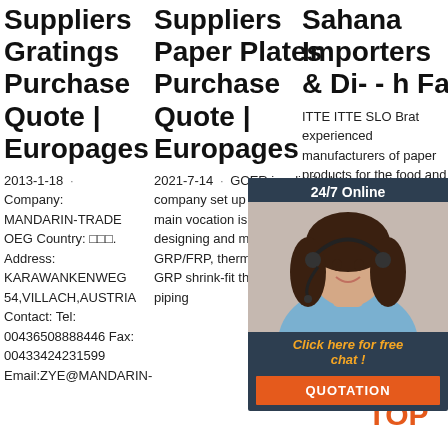Suppliers Gratings Purchase Quote | Europages
2013-1-18 · Company: MANDARIN-TRADE OEG Country: □□□. Address: KARAWANKENWEG 54,VILLACH,AUSTRIA Contact: Tel: 00436508888446 Fax: 00433424231599 Email:ZYE@MANDARIN-
Suppliers Paper Plates Purchase Quote | Europages
2021-7-14 · GCER is a limited company set up in 2001 whose main vocation is studying, designing and manufacturing GRP/FRP, thermoplastic and GRP shrink-fit thermoplastic piping
Sahana Importers & Di- - h Fa
ITTE ITTE SLO Brat experienced manufacturers of paper products for the food and take away industry. We produce paper cups with logos
[Figure (infographic): 24/7 Online chat overlay ad with woman wearing headset, orange QUOTATION button, dark blue background. Text: '24/7 Online', 'Click here for free chat!', 'QUOTATION']
[Figure (logo): TOP logo in orange with decorative dots]